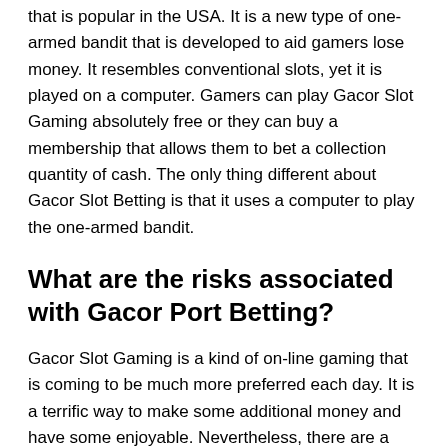that is popular in the USA. It is a new type of one-armed bandit that is developed to aid gamers lose money. It resembles conventional slots, yet it is played on a computer. Gamers can play Gacor Slot Gaming absolutely free or they can buy a membership that allows them to bet a collection quantity of cash. The only thing different about Gacor Slot Betting is that it uses a computer to play the one-armed bandit.
What are the risks associated with Gacor Port Betting?
Gacor Slot Gaming is a kind of on-line gaming that is coming to be much more preferred each day. It is a terrific way to make some additional money and have some enjoyable. Nevertheless, there are a couple of things you need to understand in order to play Gacor Slot Gaming securely. It is important to be mindful of the threats entailed in Gacor Port Gaming. Gacor Slot Gambling can be dangerous and can have unfavorable repercussions for your health. You should likewise